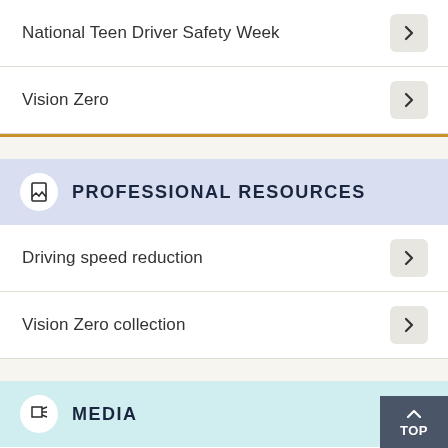National Teen Driver Safety Week
Vision Zero
PROFESSIONAL RESOURCES
Driving speed reduction
Vision Zero collection
MEDIA
The other side of the pandemic: fewer traffic deaths